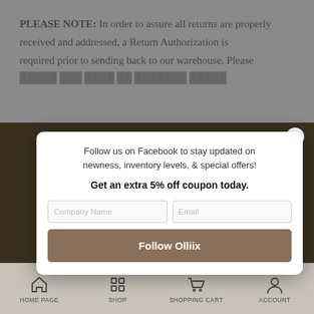PLEASE NOTE: In order to assure all returns are properly received and addressed, a Return Authorization is required prior to sending back to our warehouse. Please
[Figure (screenshot): Modal popup dialog with white background over a dark brownish website background. Contains text about following on Facebook, a 5% off coupon offer, Company Name and Email input fields, and a Follow Olliix button.]
Follow us on Facebook to stay updated on newness, inventory levels, & special offers!
Get an extra 5% off coupon today.
Company Name
Email
Follow Olliix
HOME PAGE  SHOP  SHOPPING CART  ACCOUNT